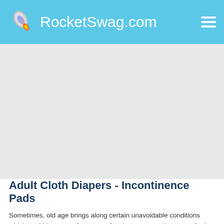RocketSwag.com
[Figure (other): Advertisement banner placeholder (gray block)]
Adult Cloth Diapers - Incontinence Pads
Sometimes, old age brings along certain unavoidable conditions which could be more of a cause of embarrassment than a medical problem. Almost twenty million Americans suffer from ‘urinary incontinence’ which results in loss of control over one’s bowels or urinary bladder. This can affect women or men. Medically, it can be explained as a condition wherein the pressure applied by the bladder is more than that of the urethra. This causes involuntary discharge of urine. Weakening of the pelvic muscles, Parkinson’s disease, stroke, Alzheimer’s disease or a severe injury can trigger this problem.
One can choose to use adult diapers to overcome the